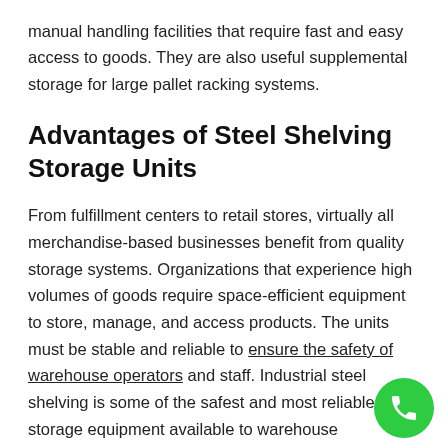manual handling facilities that require fast and easy access to goods. They are also useful supplemental storage for large pallet racking systems.
Advantages of Steel Shelving Storage Units
From fulfillment centers to retail stores, virtually all merchandise-based businesses benefit from quality storage systems. Organizations that experience high volumes of goods require space-efficient equipment to store, manage, and access products. The units must be stable and reliable to ensure the safety of warehouse operators and staff. Industrial steel shelving is some of the safest and most reliable storage equipment available to warehouse